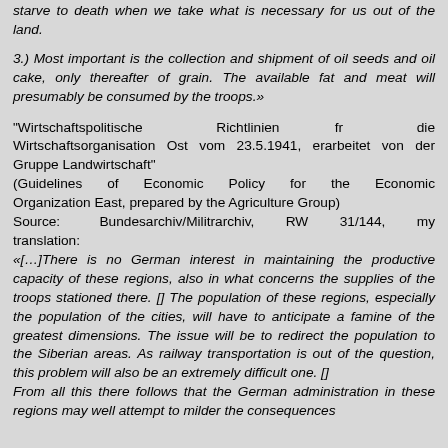starve to death when we take what is necessary for us out of the land.
3.) Most important is the collection and shipment of oil seeds and oil cake, only thereafter of grain. The available fat and meat will presumably be consumed by the troops.»
"Wirtschaftspolitische Richtlinien fr die Wirtschaftsorganisation Ost vom 23.5.1941, erarbeitet von der Gruppe Landwirtschaft"
(Guidelines of Economic Policy for the Economic Organization East, prepared by the Agriculture Group)
Source: Bundesarchiv/Militrarchiv, RW 31/144, my translation:
«[…]There is no German interest in maintaining the productive capacity of these regions, also in what concerns the supplies of the troops stationed there. [] The population of these regions, especially the population of the cities, will have to anticipate a famine of the greatest dimensions. The issue will be to redirect the population to the Siberian areas. As railway transportation is out of the question, this problem will also be an extremely difficult one. []
From all this there follows that the German administration in these regions may well attempt to milder the consequences